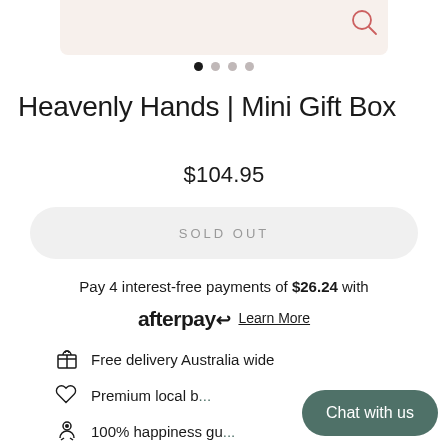[Figure (photo): Product image area (beige/cream background, partially visible at top)]
[Figure (other): Carousel navigation dots, first dot active/filled, three inactive dots]
Heavenly Hands | Mini Gift Box
$104.95
SOLD OUT
Pay 4 interest-free payments of $26.24 with afterpay  Learn More
Free delivery Australia wide
Premium local b...
100% happiness gu...
Chat with us